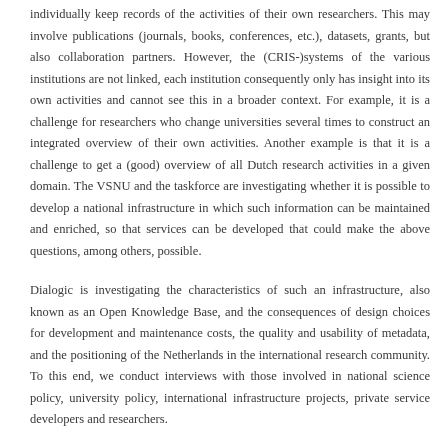individually keep records of the activities of their own researchers. This may involve publications (journals, books, conferences, etc.), datasets, grants, but also collaboration partners. However, the (CRIS-)systems of the various institutions are not linked, each institution consequently only has insight into its own activities and cannot see this in a broader context. For example, it is a challenge for researchers who change universities several times to construct an integrated overview of their own activities. Another example is that it is a challenge to get a (good) overview of all Dutch research activities in a given domain. The VSNU and the taskforce are investigating whether it is possible to develop a national infrastructure in which such information can be maintained and enriched, so that services can be developed that could make the above questions, among others, possible.
Dialogic is investigating the characteristics of such an infrastructure, also known as an Open Knowledge Base, and the consequences of design choices for development and maintenance costs, the quality and usability of metadata, and the positioning of the Netherlands in the international research community. To this end, we conduct interviews with those involved in national science policy, university policy, international infrastructure projects, private service developers and researchers.
Would you like to know more about this feasibility study? Please contact